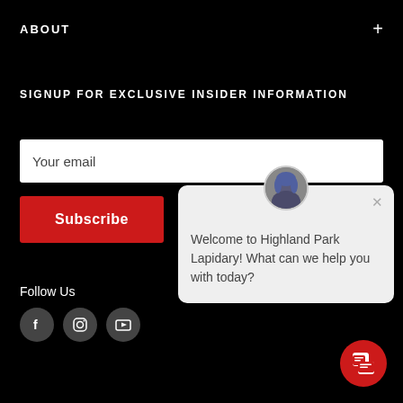ABOUT
SIGNUP FOR EXCLUSIVE INSIDER INFORMATION
Your email
Subscribe
Welcome to Highland Park Lapidary! What can we help you with today?
Follow Us
[Figure (illustration): Social media icons: Facebook, Instagram, YouTube in gray circles]
[Figure (illustration): Red chat FAB button with chat icon]